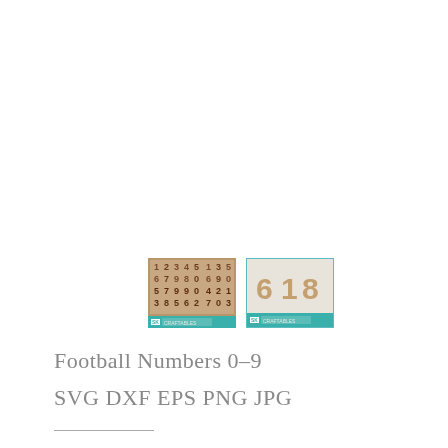[Figure (illustration): Two small thumbnail images of a football numbers 0-9 product. Left thumbnail shows a dense grid of numbers on a brown/tan background with a teal SK label strip at the bottom. Right thumbnail shows larger individual number characters '6 1 8' on a light background with a teal border and SK label strip at the bottom.]
Football Numbers 0-9
SVG DXF EPS PNG JPG